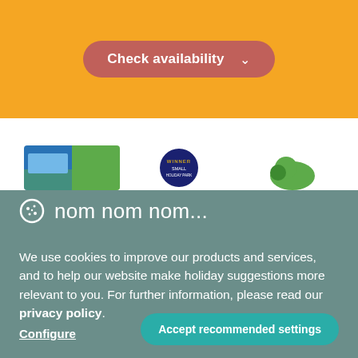[Figure (screenshot): Orange top bar with 'Check availability' button in pink-red rounded rectangle with dropdown arrow]
Bluestone Foundation
[Figure (illustration): Three white card thumbnails showing logos/images partially visible]
🍪  nom nom nom...
We use cookies to improve our products and services, and to help our website make holiday suggestions more relevant to you. For further information, please read our privacy policy.
Configure
Accept recommended settings